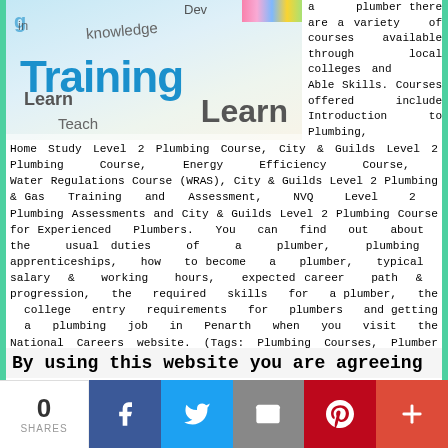[Figure (photo): Photo of paper strips with words Training, Learn, Teach, Knowledge on them, with colorful pencils in background]
a plumber there are a variety of courses available through local colleges and Able Skills. Courses offered include Introduction to Plumbing, Home Study Level 2 Plumbing Course, City & Guilds Level 2 Plumbing Course, Energy Efficiency Course, Water Regulations Course (WRAS), City & Guilds Level 2 Plumbing & Gas Training and Assessment, NVQ Level 2 Plumbing Assessments and City & Guilds Level 2 Plumbing Course for Experienced Plumbers. You can find out about the usual duties of a plumber, plumbing apprenticeships, how to become a plumber, typical salary & working hours, expected career path & progression, the required skills for a plumber, the college entry requirements for plumbers and getting a plumbing job in Penarth when you visit the National Careers website. (Tags: Plumbing Courses, Plumber Courses, Plumbing Apprenticeships)
By using this website you are agreeing
0 SHARES